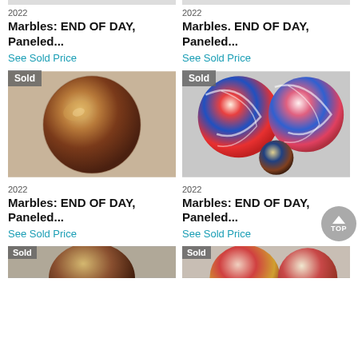2022
Marbles: END OF DAY, Paneled...
See Sold Price
2022
Marbles. END OF DAY, Paneled...
See Sold Price
[Figure (photo): Large single brown/gold swirl marble with 'Sold' badge]
[Figure (photo): Three marbles with red, white, blue swirl patterns with 'Sold' badge]
2022
Marbles: END OF DAY, Paneled...
See Sold Price
2022
Marbles: END OF DAY, Paneled...
See Sold Price
[Figure (photo): Partial marble image at bottom left with 'Sold' badge]
[Figure (photo): Partial marble image at bottom right with 'Sold' badge]